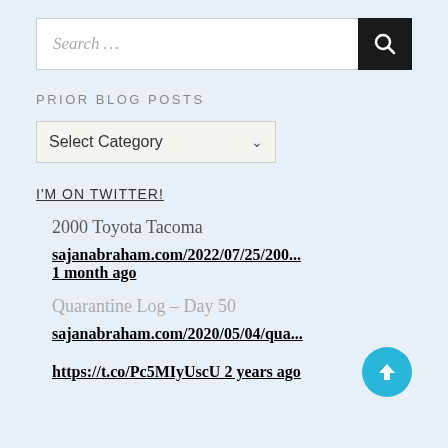Search ...
PRIOR BLOG POSTS
Select Category
I'M ON TWITTER!
2000 Toyota Tacoma
sajanabraham.com/2022/07/25/200...
1 month ago
Quarantine Log – Day 50
sajanabraham.com/2020/05/04/qua...
https://t.co/Pc5MIyUscU 2 years ago